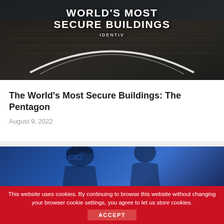[Figure (photo): Aerial photo of the Pentagon building with overlaid text 'WORLD'S MOST SECURE BUILDINGS' and 'IDENTIV' branding, with a glowing arc/smile graphic overlay]
The World's Most Secure Buildings: The Pentagon
August 9, 2022
[Figure (photo): Photo of two people with a blue color overlay/tint]
This website uses cookies. By continuing to browse this website without changing your browser cookie settings, you agree to let us store cookies.